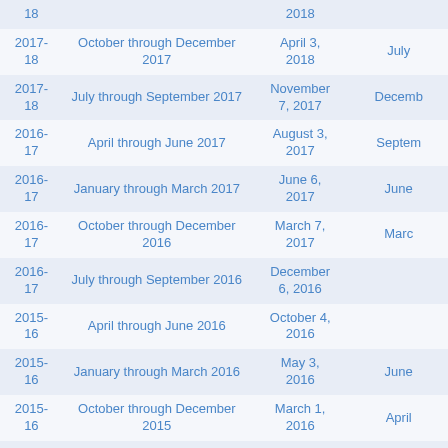| Year | Period | Date | Date2 |
| --- | --- | --- | --- |
| 18 |  | 2018 |  |
| 2017-18 | October through December 2017 | April 3, 2018 | July |
| 2017-18 | July through September 2017 | November 7, 2017 | Decemb |
| 2016-17 | April through June 2017 | August 3, 2017 | Septem |
| 2016-17 | January through March 2017 | June 6, 2017 | June |
| 2016-17 | October through December 2016 | March 7, 2017 | Marc |
| 2016-17 | July through September 2016 | December 6, 2016 |  |
| 2015-16 | April through June 2016 | October 4, 2016 |  |
| 2015-16 | January through March 2016 | May 3, 2016 | June |
| 2015-16 | October through December 2015 | March 1, 2016 | April |
| 2015-16 | July through September 2015 | December 1, 2015 | Januar |
| 2014- |  | August 6, |  |